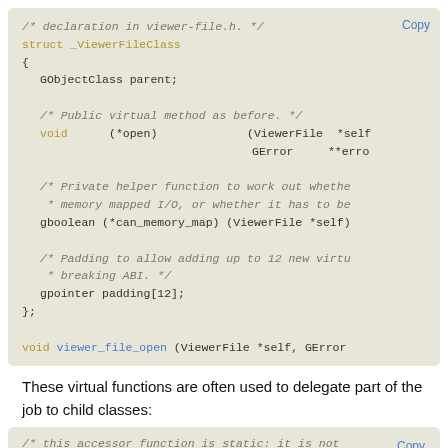[Figure (screenshot): Code block showing C struct _ViewerFileClass declaration with virtual methods, helper function, and padding. Includes a Copy button.]
These virtual functions are often used to delegate part of the job to child classes:
[Figure (screenshot): Code block showing beginning of accessor function comment: /* this accessor function is static: it is not */. Includes Copy button and scroll-to-top button.]